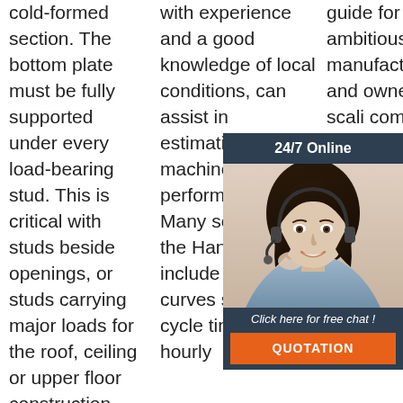cold-formed section. The bottom plate must be fully supported under every load-bearing stud. This is critical with studs beside openings, or studs carrying major loads for the roof, ceiling or upper floor construction. The support
with experience and a good knowledge of local conditions, can assist in estimating true machine performance. Many sections of the Handbook include tables or curves showing cycle times or hourly
guide for ambitious manufacturers and owners of scaling companies looking to understand better hands-on inventory guidance to manufacturers of all stripes and shows you how your raw
[Figure (infographic): 24/7 Online chat widget with photo of female customer support agent wearing headset, 'Click here for free chat!' text, and QUOTATION button in orange]